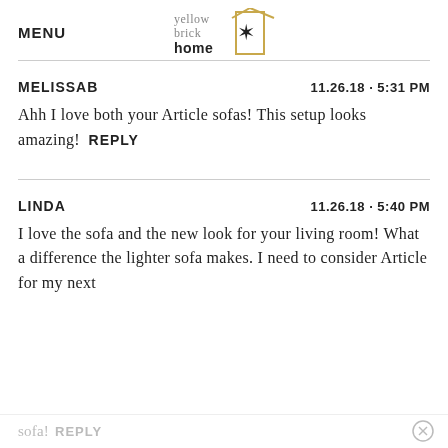MENU
[Figure (logo): Yellow Brick Home logo: text 'yellow brick home' with a house outline and star icon in gold/black]
MELISSAB   11.26.18 · 5:31 PM
Ahh I love both your Article sofas! This setup looks amazing!  REPLY
LINDA   11.26.18 · 5:40 PM
I love the sofa and the new look for your living room! What a difference the lighter sofa makes. I need to consider Article for my next sofa!  REPLY